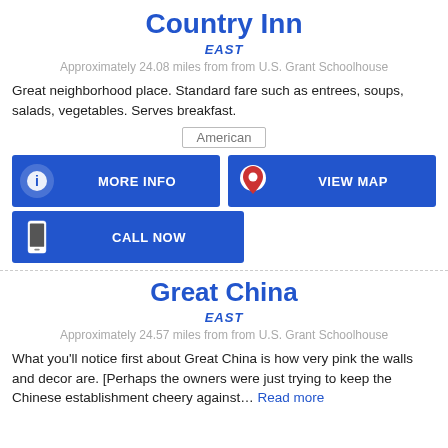Country Inn
EAST
Approximately 24.08 miles from from U.S. Grant Schoolhouse
Great neighborhood place. Standard fare such as entrees, soups, salads, vegetables. Serves breakfast.
American
[Figure (infographic): Two blue buttons: MORE INFO (with info icon) and VIEW MAP (with map pin icon)]
[Figure (infographic): One blue button: CALL NOW (with phone icon)]
Great China
EAST
Approximately 24.57 miles from from U.S. Grant Schoolhouse
What you'll notice first about Great China is how very pink the walls and decor are. [Perhaps the owners were just trying to keep the Chinese establishment cheery against... Read more